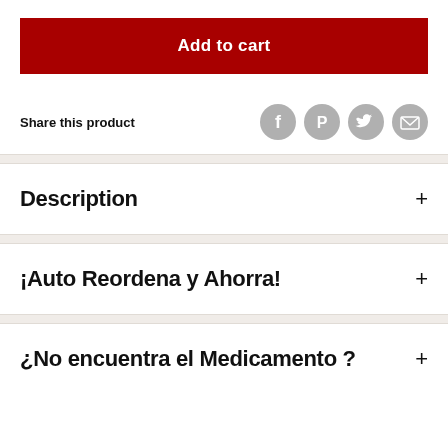Add to cart
Share this product
Description
¡Auto Reordena y Ahorra!
¿No encuentra el Medicamento ?